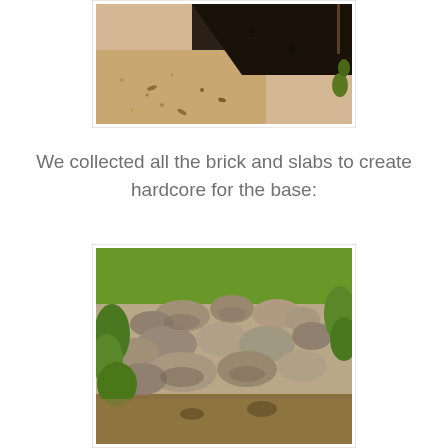[Figure (photo): Outdoor ground-level photo showing dark soil/dirt and light sandy/gravelly ground with scattered leaves and plant debris.]
We collected all the brick and slabs to create hardcore for the base:
[Figure (photo): Outdoor photo showing a pile of large rocks and stones stacked together, surrounded by green leafy plants and vegetation.]